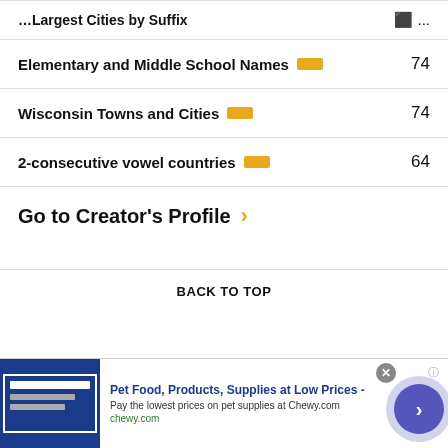Elementary and Middle School Names  74
Wisconsin Towns and Cities  74
2-consecutive vowel countries  64
Go to Creator's Profile
BACK TO TOP
[Figure (other): Advertisement banner for Chewy.com: Pet Food, Products, Supplies at Low Prices - Pay the lowest prices on pet supplies at Chewy.com, with close button and navigation arrow]